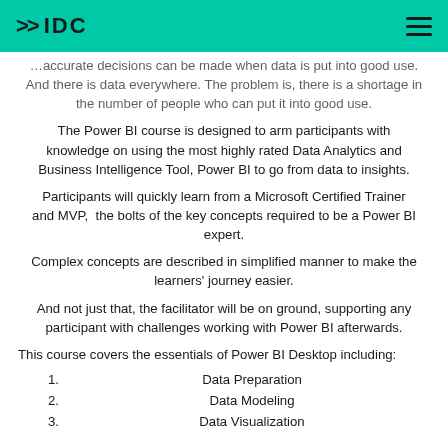IDC
…accurate decisions can be made when data is put into good use. And there is data everywhere. The problem is, there is a shortage in the number of people who can put it into good use.
The Power BI course is designed to arm participants with knowledge on using the most highly rated Data Analytics and Business Intelligence Tool, Power BI to go from data to insights.
Participants will quickly learn from a Microsoft Certified Trainer and MVP,  the bolts of the key concepts required to be a Power BI expert.
Complex concepts are described in simplified manner to make the learners' journey easier.
And not just that, the facilitator will be on ground, supporting any participant with challenges working with Power BI afterwards.
This course covers the essentials of Power BI Desktop including:
Data Preparation
Data Modeling
Data Visualization